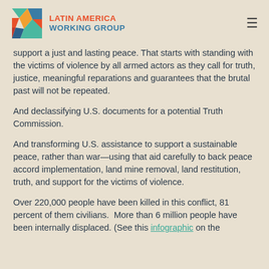[Figure (logo): Latin America Working Group logo with colorful geometric lightning bolt icon and organization name in red and blue text]
support a just and lasting peace. That starts with standing with the victims of violence by all armed actors as they call for truth, justice, meaningful reparations and guarantees that the brutal past will not be repeated.
And declassifying U.S. documents for a potential Truth Commission.
And transforming U.S. assistance to support a sustainable peace, rather than war—using that aid carefully to back peace accord implementation, land mine removal, land restitution, truth, and support for the victims of violence.
Over 220,000 people have been killed in this conflict, 81 percent of them civilians.  More than 6 million people have been internally displaced. (See this infographic on the